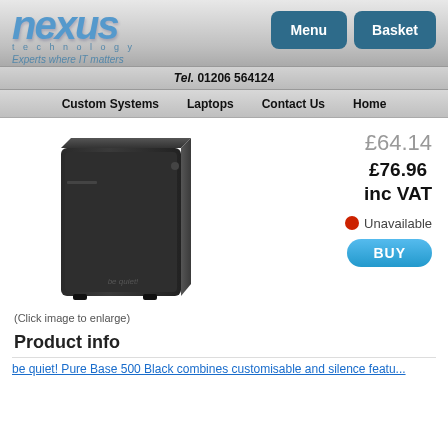[Figure (logo): Nexus Technology logo with blue stylized text and tagline 'Experts where IT matters']
[Figure (other): Menu and Basket navigation buttons in teal/dark blue]
Tel. 01206 564124
Custom Systems  Laptops  Contact Us  Home
[Figure (photo): Black PC tower case (be quiet! Pure Base 500 Black)]
£64.14
£76.96 inc VAT
Unavailable
BUY
(Click image to enlarge)
Product info
be quiet! Pure Base 500 Black combines customisable and silence features...